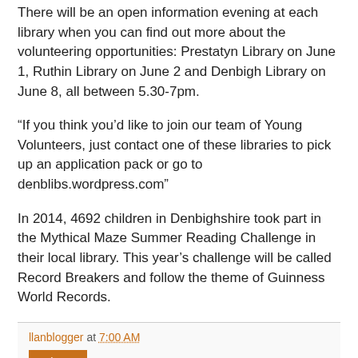There will be an open information evening at each library when you can find out more about the volunteering opportunities: Prestatyn Library on June 1, Ruthin Library on June 2 and Denbigh Library on June 8, all between 5.30-7pm.
“If you think you’d like to join our team of Young Volunteers, just contact one of these libraries to pick up an application pack or go to denblibs.wordpress.com”
In 2014, 4692 children in Denbighshire took part in the Mythical Maze Summer Reading Challenge in their local library. This year’s challenge will be called Record Breakers and follow the theme of Guinness World Records.
llanblogger at 7:00 AM
Share
No comments: